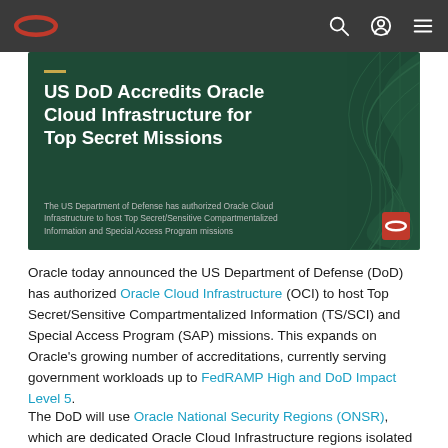Oracle navigation bar with Oracle logo, search, account, and menu icons
[Figure (illustration): Dark green hero banner with title 'US DoD Accredits Oracle Cloud Infrastructure for Top Secret Missions' and subtitle text about DoD authorization, with abstract wave graphics and Oracle logo badge]
Oracle today announced the US Department of Defense (DoD) has authorized Oracle Cloud Infrastructure (OCI) to host Top Secret/Sensitive Compartmentalized Information (TS/SCI) and Special Access Program (SAP) missions. This expands on Oracle's growing number of accreditations, currently serving government workloads up to FedRAMP High and DoD Impact Level 5.
The DoD will use Oracle National Security Regions (ONSR), which are dedicated Oracle Cloud Infrastructure regions isolated from the internet and connected to only